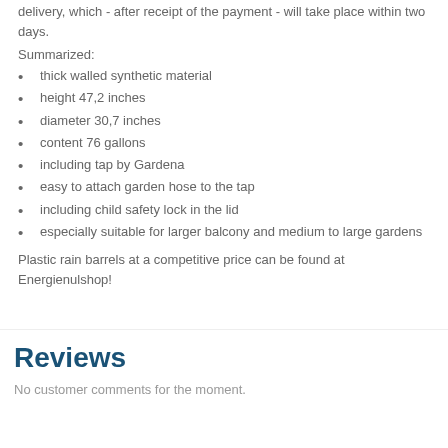delivery, which - after receipt of the payment - will take place within two days.
Summarized:
thick walled synthetic material
height 47,2 inches
diameter 30,7 inches
content 76 gallons
including tap by Gardena
easy to attach garden hose to the tap
including child safety lock in the lid
especially suitable for larger balcony and medium to large gardens
Plastic rain barrels at a competitive price can be found at Energienulshop!
Reviews
No customer comments for the moment.